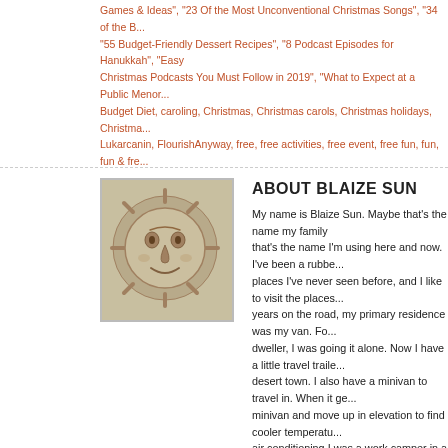Games & Ideas", "23 Of the Most Unconventional Christmas Songs", "34 of the B... "55 Budget-Friendly Dessert Recipes", "8 Podcast Episodes for Hanukkah", "Easy Christmas Podcasts You Must Follow in 2019", "What to Expect at a Public Menor... Budget Diet, caroling, Christmas, Christmas carols, Christmas holidays, Christma... Lukarcanin, FlourishAnyway, free, free activities, free event, free fun, fun, fun & fre... countries, Kwanzaa, Kwanzaa Central Podcast, Las Posadas, Melissa Locker, Me... Yule, potato stamp, public menorah lighting, Santa Claus, singing, Solstice, songs... Should Know, Taste of Home, Taylor Weatherby, The Spruce Crafts, Winter Solsti...
[Figure (photo): Stone or ceramic sun face sculpture with carved features, beige/tan color]
ABOUT BLAIZE SUN
My name is Blaize Sun. Maybe that's the name my family... that's the name I'm using here and now. I've been a rubbe... places I've never seen before, and I like to visit the places... years on the road, my primary residence was my van. For... dweller, I was going it alone. Now I have a little travel traile... desert town. I also have a minivan to travel in. When it ge... minivan and move up in elevation to find cooler temperatu... air conditioning I was a work camper in a remote National... four seasons. I was a camp host and parking lot attendan... my experiences called Confessions of a Work Camper: Ta... seasons as a work camper on that mountain, I was a cleri... house and pet sitter, and I pick up odd jobs when I can. I'... beautiful little collages; hand make hemp jewelry and war... creative and artistic skills to decorate my life and brighten...